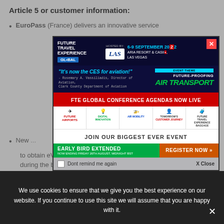Article 5 or customer information:
EuroPass (France) delivers an innovative service
[Figure (screenshot): Future Travel Experience Global conference advertisement overlay showing event details: 6-9 September 2022, Aria Resort & Casino, Las Vegas, with quote 'It’s now the CES for aviation!' by Rosemary A. Vassiliadis, Director of Aviation, Clark County Department of Aviation. Event theme: Future-Proofing Air Transport. FTE Global Conference Agendas Now Live. Track icons for Future Airports, Digital Innovation, Air Mobility, Tomorrow's, Baggage. Join Our Biggest Ever Event. Early Bird Extended - Now ending Friday 26th August, Midnight BST. Register Now button.]
Dont remind me again   X Close
New ... ability to obtain eVisas based on destination for an additional service fee during the booking process.
We use cookies to ensure that we give you the best experience on our website. If you continue to use this site we will assume that you are happy with it.